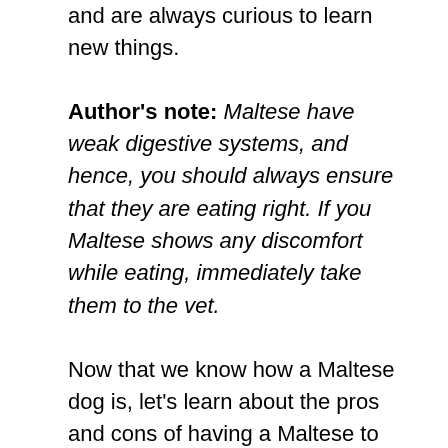and are always curious to learn new things.
Author's note: Maltese have weak digestive systems, and hence, you should always ensure that they are eating right. If you Maltese shows any discomfort while eating, immediately take them to the vet.
Now that we know how a Maltese dog is, let's learn about the pros and cons of having a Maltese to understand them better.